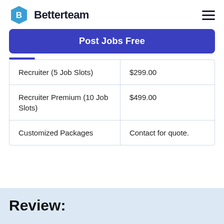Betterteam
Post Jobs Free
| Plan | Price |
| --- | --- |
| Recruiter (5 Job Slots) | $299.00 |
| Recruiter Premium (10 Job Slots) | $499.00 |
| Customized Packages | Contact for quote. |
Review: